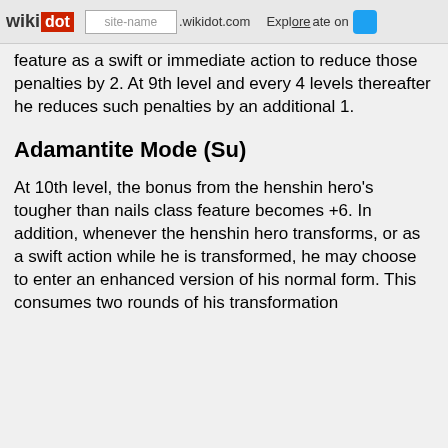wikidot | site-name .wikidot.com | Explore | Share on
feature as a swift or immediate action to reduce those penalties by 2. At 9th level and every 4 levels thereafter he reduces such penalties by an additional 1.
Adamantite Mode (Su)
At 10th level, the bonus from the henshin hero's tougher than nails class feature becomes +6. In addition, whenever the henshin hero transforms, or as a swift action while he is transformed, he may choose to enter an enhanced version of his normal form. This consumes two rounds of his transformation shortly for each